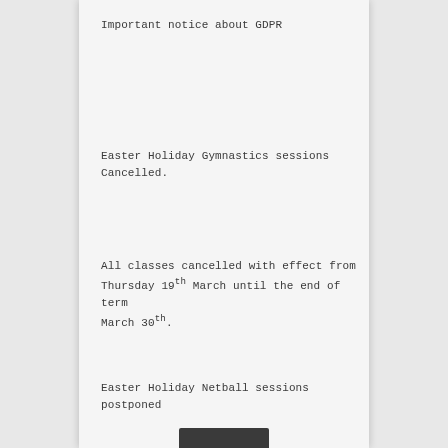Important notice about GDPR
Easter Holiday Gymnastics sessions Cancelled.
All classes cancelled with effect from Thursday 19th March until the end of term March 30th.
Easter Holiday Netball sessions postponed